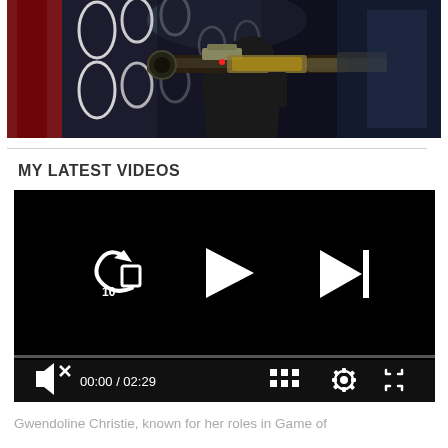[Figure (photo): Dark sci-fi scene showing an armored figure holding a large weapon/gun, with red and white dramatic lighting in the background, resembling a Star Wars-style character]
MY LATEST VIDEOS
[Figure (screenshot): Video player showing a black screen with playback controls: rewind 10 seconds button, play button, skip-next button in center; bottom bar shows muted speaker icon, timecode 00:00 / 02:29, grid/playlist icon, settings gear icon, and fullscreen icon]
Gwendoline Christie, known for her roles in Game of